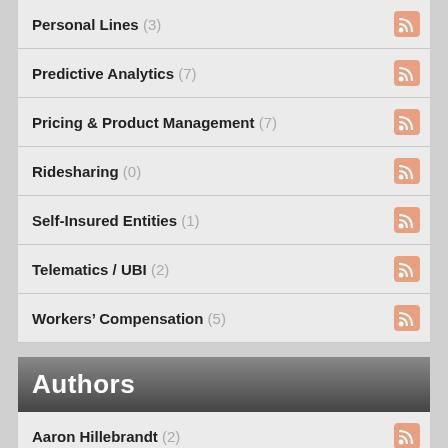Personal Lines (3)
Predictive Analytics (7)
Pricing & Product Management (7)
Ridesharing (0)
Self-Insured Entities (1)
Telematics / UBI (2)
Workers' Compensation (5)
Authors
Aaron Hillebrandt (2)
Amanda Conklin (1)
Art Randolph (1)
Brittany Henrich (1)
Christina Negley (3)
Dalesa Bady (1)
Danny Linton (1)
Derek Freihaut (2)